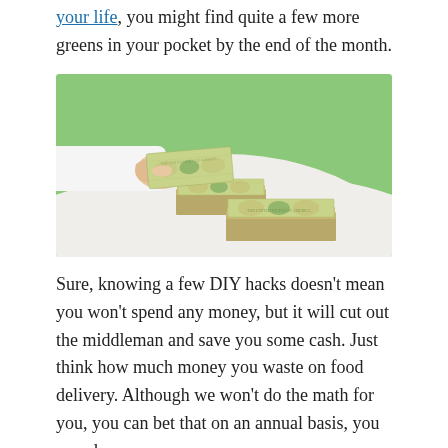your life, you might find quite a few more greens in your pocket by the end of the month.
[Figure (photo): A hand in a white sleeve holding a US dollar bill over a white round table, with two stacks of dollar bills on the table, against a green background.]
Sure, knowing a few DIY hacks doesn't mean you won't spend any money, but it will cut out the middleman and save you some cash. Just think how much money you waste on food delivery. Although we won't do the math for you, you can bet that on an annual basis, you spend